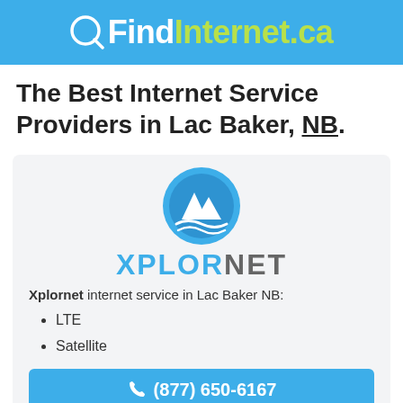QFindInternet.ca
The Best Internet Service Providers in Lac Baker, NB.
[Figure (logo): Xplornet logo: circular blue icon with white mountain and wave shapes, text XPLORNET in large letters where XPLOR is blue and NET is grey]
Xplornet internet service in Lac Baker NB:
LTE
Satellite
(877) 650-6167
Free Online Quote